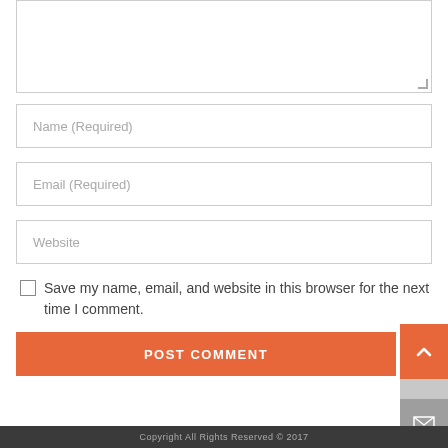[Figure (screenshot): Text area input box (empty, resizable)]
Name (Required)
Email (Required)
Website
Save my name, email, and website in this browser for the next time I comment.
POST COMMENT
Copyright All Rights Reserved © 2017